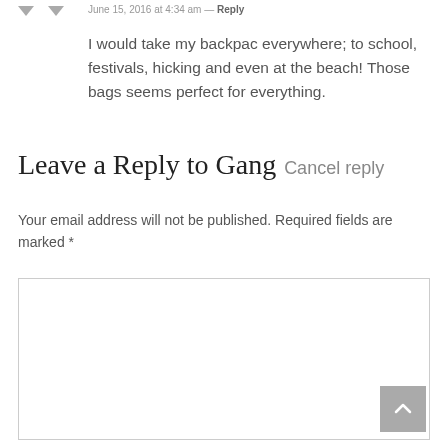June 15, 2016 at 4:34 am — Reply
I would take my backpac everywhere; to school, festivals, hicking and even at the beach! Those bags seems perfect for everything.
Leave a Reply to Gang Cancel reply
Your email address will not be published. Required fields are marked *